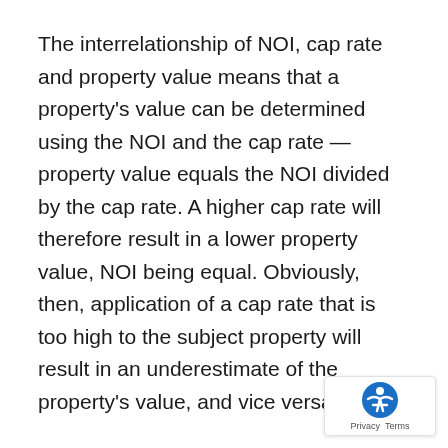The interrelationship of NOI, cap rate and property value means that a property's value can be determined using the NOI and the cap rate — property value equals the NOI divided by the cap rate. A higher cap rate will therefore result in a lower property value, NOI being equal. Obviously, then, application of a cap rate that is too high to the subject property will result in an underestimate of the property's value, and vice versa.
Disputes over the proper cap rate to use when valuing a property can stem from different approaches to developing a cap rate from comparable properties, particularly when